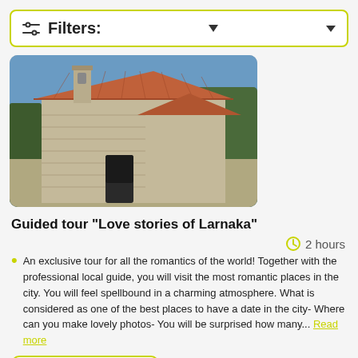Filters:
[Figure (photo): Stone church building with terracotta/red tiled roof under blue sky with trees in background]
Guided tour "Love stories of Larnaka"
2 hours
An exclusive tour for all the romantics of the world! Together with the professional local guide, you will visit the most romantic places in the city. You will feel spellbound in a charming atmosphere. What is considered as one of the best places to have a date in the city- Where can you make lovely photos- You will be surprised how many... Read more
from $469.60